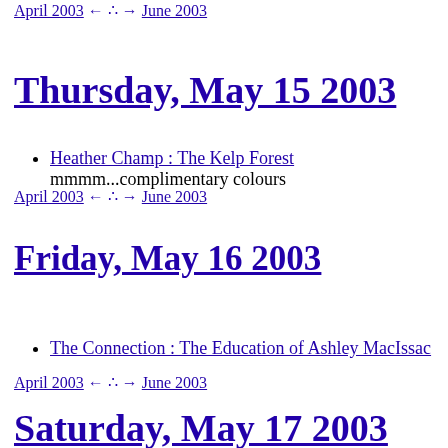April 2003 ← ∴ → June 2003
Thursday, May 15 2003
Heather Champ : The Kelp Forest   mmmm...complimentary colours
April 2003 ← ∴ → June 2003
Friday, May 16 2003
The Connection : The Education of Ashley MacIssac
April 2003 ← ∴ → June 2003
Saturday, May 17 2003